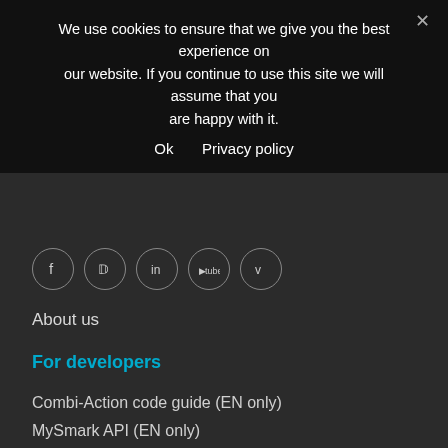We use cookies to ensure that we give you the best experience on our website. If you continue to use this site we will assume that you are happy with it.
Ok   Privacy policy
[Figure (other): Social media icons row: Facebook, Twitter, LinkedIn, YouTube, Vimeo — circular outlined icons]
About us
For developers
Combi-Action code guide (EN only)
MySmark API (EN only)
Terms, privacy, cookies policy
MySmark is a service of b-sm@rk Ltd
Terms specific to MySmark